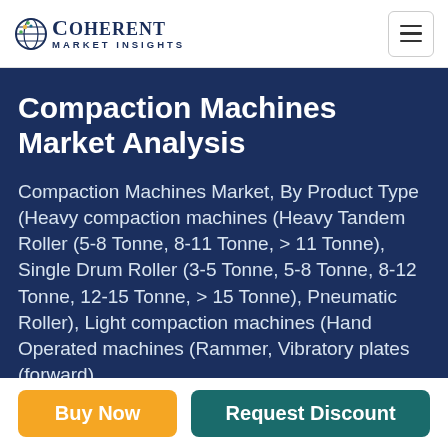Coherent Market Insights
Compaction Machines Market Analysis
Compaction Machines Market, By Product Type (Heavy compaction machines (Heavy Tandem Roller (5-8 Tonne, 8-11 Tonne, > 11 Tonne), Single Drum Roller (3-5 Tonne, 5-8 Tonne, 8-12 Tonne, 12-15 Tonne, > 15 Tonne), Pneumatic Roller), Light compaction machines (Hand Operated machines (Rammer, Vibratory plates (forward)
Buy Now | Request Discount